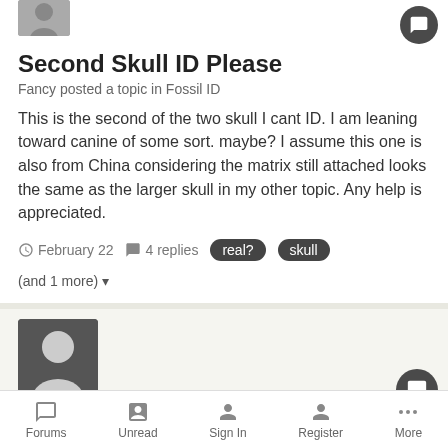Second Skull ID Please
Fancy posted a topic in Fossil ID
This is the second of the two skull I cant ID. I am leaning toward canine of some sort. maybe? I assume this one is also from China considering the matrix still attached looks the same as the larger skull in my other topic. Any help is appreciated.
February 22   4 replies   real?   skull   (and 1 more)
White canine tooth
Brad s. posted a topic in Fossil ID
When I saw the white color I immediately thought it was modern, but an isurus retroflexus tooth found nearby was close to the same color.
Forums   Unread   Sign In   Register   More